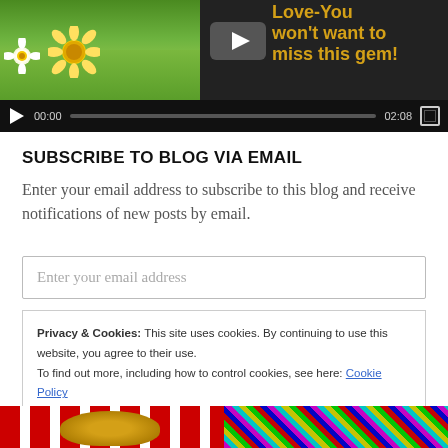[Figure (screenshot): Video player showing flowers/grass thumbnail on left, YouTube play icon and 'Love-You won't want to miss this gem!' text in gold on right, with video control bar showing play button, 00:00 timestamp, progress bar, 02:08 duration, and fullscreen button]
SUBSCRIBE TO BLOG VIA EMAIL
Enter your email address to subscribe to this blog and receive notifications of new posts by email.
Enter your email address
Privacy & Cookies: This site uses cookies. By continuing to use this website, you agree to their use.
To find out more, including how to control cookies, see here: Cookie Policy
Close and accept
[Figure (photo): Two small thumbnail images at the bottom: left shows red and white striped background with a golden item, right shows colorful neon pattern on black background]